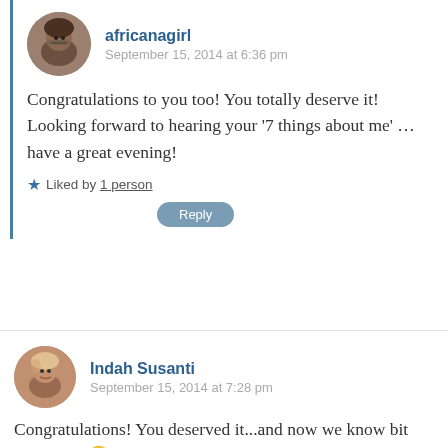[Figure (photo): Round avatar photo of africanagirl user]
africanagirl
September 15, 2014 at 6:36 pm
Congratulations to you too! You totally deserve it! Looking forward to hearing your '7 things about me' …have a great evening!
★ Liked by 1 person
Reply
[Figure (photo): Round avatar photo of Indah Susanti user]
Indah Susanti
September 15, 2014 at 7:28 pm
Congratulations! You deserved it...and now we know bit about you 😉 I have to be honest that I am not good in responding awards but I will try when time permits! Thank you so much for nominating me!!